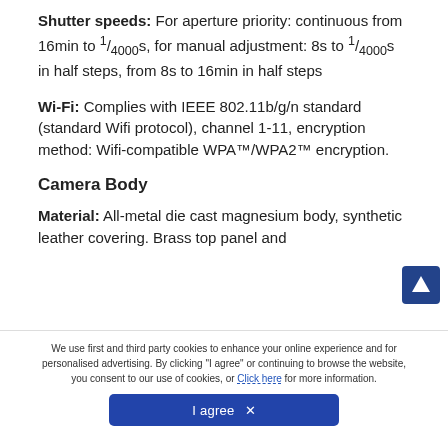Shutter speeds: For aperture priority: continuous from 16min to 1/4000s, for manual adjustment: 8s to 1/4000s in half steps, from 8s to 16min in half steps
Wi-Fi: Complies with IEEE 802.11b/g/n standard (standard Wifi protocol), channel 1-11, encryption method: Wifi-compatible WPA™/WPA2™ encryption.
Camera Body
Material: All-metal die cast magnesium body, synthetic leather covering. Brass top panel and
We use first and third party cookies to enhance your online experience and for personalised advertising. By clicking "I agree" or continuing to browse the website, you consent to our use of cookies, or Click here for more information.